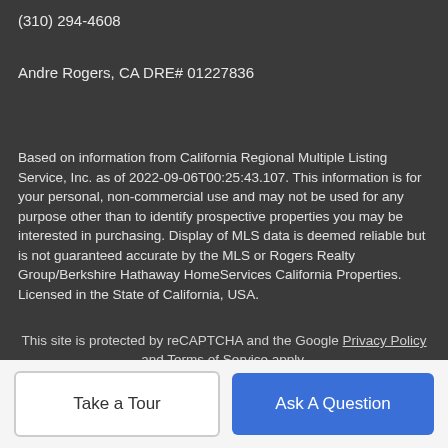(310) 294-4608
Andre Rogers, CA DRE# 01227836
Based on information from California Regional Multiple Listing Service, Inc. as of 2022-09-06T00:25:43.107. This information is for your personal, non-commercial use and may not be used for any purpose other than to identify prospective properties you may be interested in purchasing. Display of MLS data is deemed reliable but is not guaranteed accurate by the MLS or Rogers Realty Group/Berkshire Hathaway HomeServices California Properties. Licensed in the State of California, USA.
This site is protected by reCAPTCHA and the Google Privacy Policy and Terms of Service apply.
Take a Tour
Ask A Question